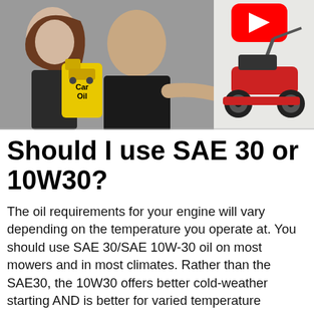[Figure (photo): Thumbnail image showing a woman and man, the man pointing at a red lawn mower. A yellow car oil container labeled 'Car Oil' is visible. A red YouTube play button is in the top right corner of the thumbnail.]
Should I use SAE 30 or 10W30?
The oil requirements for your engine will vary depending on the temperature you operate at. You should use SAE 30/SAE 10W-30 oil on most mowers and in most climates. Rather than the SAE30, the 10W30 offers better cold-weather starting AND is better for varied temperature ranges.
What is SAE 30 equivalent